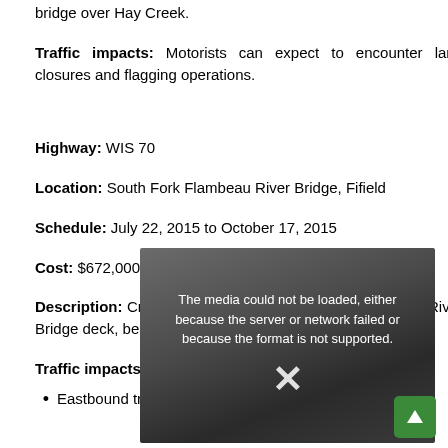bridge over Hay Creek.
Traffic impacts: Motorists can expect to encounter lane closures and flagging operations.
Highway: WIS 70
Location: South Fork Flambeau River Bridge, Fifield
Schedule: July 22, 2015 to October 17, 2015
Cost: $672,000
[Figure (other): Video player showing error message: The media could not be loaded, either because the server or network failed or because the format is not supported.]
Description: Crews will replace the South Fork Flambeau River Bridge deck, bearing, railing, and beam guard.
Traffic impacts: WIS 70 is closed at the bridge.
Eastbound traffic is detoured via East Central Avenue